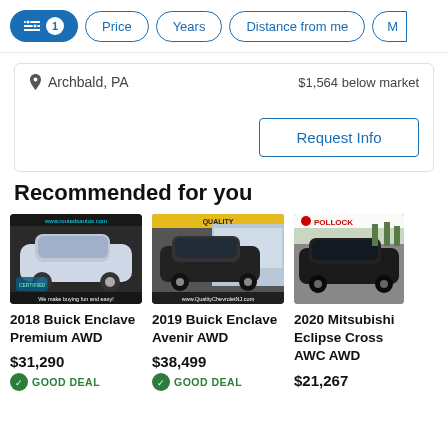Filter controls: [active filter icon 1] Price  Years  Distance from me  M...
📍 Archbald, PA   $1,564 below market
Request Info
Recommended for you
[Figure (photo): 2018 Buick Enclave Premium AWD car listing photo with dealer watermark www.routedsautos.com and text 'We make buying fun and easy!']
2018 Buick Enclave Premium AWD
$31,290
GOOD DEAL
[Figure (photo): 2019 Buick Enclave Avenir AWD car listing photo with Quality Chevrolet NJ dealer logo and www.QualityChevroletNJ.com watermark]
2019 Buick Enclave Avenir AWD
$38,499
GOOD DEAL
[Figure (photo): 2020 Mitsubishi Eclipse Cross AWC AWD car listing photo with Pollock dealer logo]
2020 Mitsubishi Eclipse Cross AWC AWD
$21,267